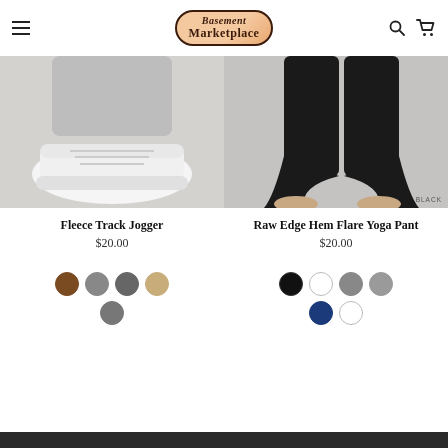Basement Marketplace
[Figure (photo): Close-up of person wearing white sneakers with gray jogger pants]
[Figure (photo): Close-up of bare feet and legs wearing black flare yoga pants, labeled BLACK]
Fleece Track Jogger
$20.00
Raw Edge Hem Flare Yoga Pant
$20.00
[Figure (other): Color swatches for Fleece Track Jogger: brown, gray, dark gray, tan, dark gray]
[Figure (other): Color swatches for Raw Edge Hem Flare Yoga Pant: black, white, gray, gray, navy, white]